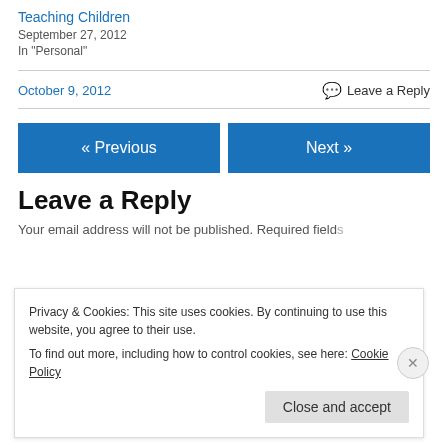Teaching Children
September 27, 2012
In "Personal"
October 9, 2012   Leave a Reply
« Previous
Next »
Leave a Reply
Your email address will not be published. Required fields
Privacy & Cookies: This site uses cookies. By continuing to use this website, you agree to their use.
To find out more, including how to control cookies, see here: Cookie Policy
Close and accept